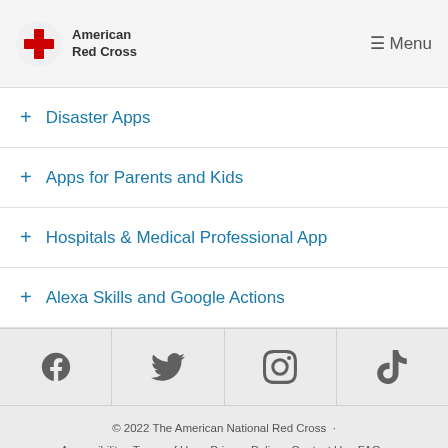[Figure (logo): American Red Cross logo with red cross icon and text]
+ Disaster Apps
+ Apps for Parents and Kids
+ Hospitals & Medical Professional App
+ Alexa Skills and Google Actions
[Figure (infographic): Social media icons row: Facebook, Twitter, Instagram, TikTok]
© 2022 The American National Red Cross · Accessibility · Terms of Use · Privacy Policy · Contact Us · FAQ · Mobile Apps · Give Blood · Careers